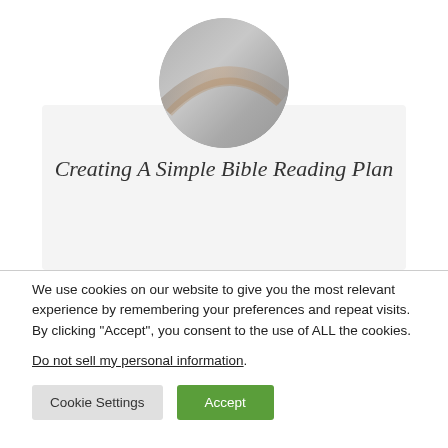[Figure (photo): Circular profile photo showing a grey/silver abstract image, possibly a sky or metallic surface with a faint arc]
Creating A Simple Bible Reading Plan
We use cookies on our website to give you the most relevant experience by remembering your preferences and repeat visits. By clicking “Accept”, you consent to the use of ALL the cookies.
Do not sell my personal information.